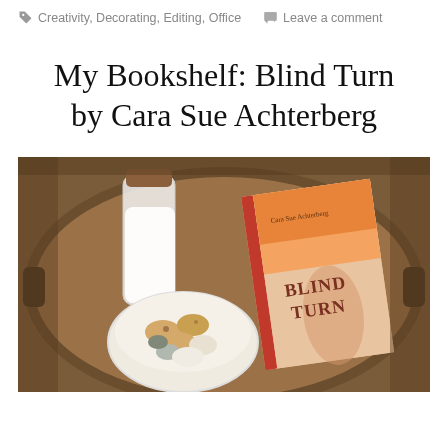Creativity, Decorating, Editing, Office   Leave a comment
My Bookshelf: Blind Turn by Cara Sue Achterberg
[Figure (photo): Overhead view of a wooden tray on a table containing a glass bottle with a wooden lid filled with a white liquid, a bowl of small cookies and seashells, and the book 'Blind Turn' by Cara Sue Achterberg propped up.]